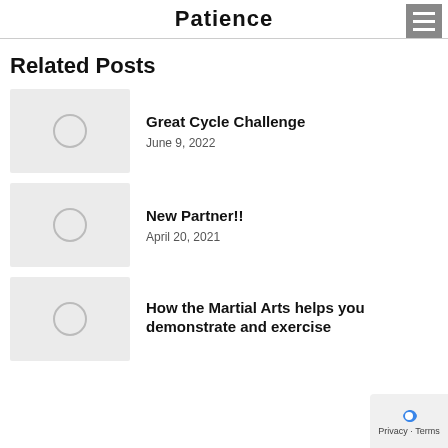Patience
Related Posts
Great Cycle Challenge
June 9, 2022
New Partner!!
April 20, 2021
How the Martial Arts helps you demonstrate and exercise